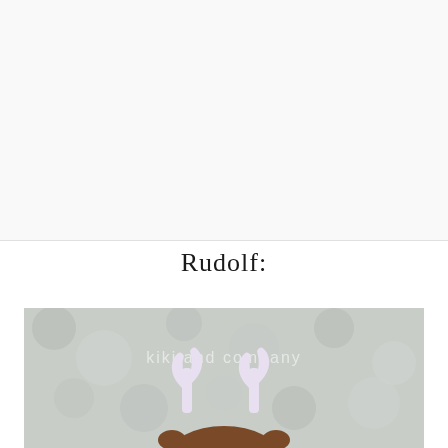[Figure (photo): Large white/light gray blank upper section of the page, serving as background or image placeholder area.]
Rudolf:
[Figure (photo): Photo showing a light gray bokeh background with the text 'kiki and company' watermarked in white. In the foreground are white reindeer antler shapes (craft cutouts) and the top of a brown reindeer head, consistent with a Rudolf reindeer craft project.]